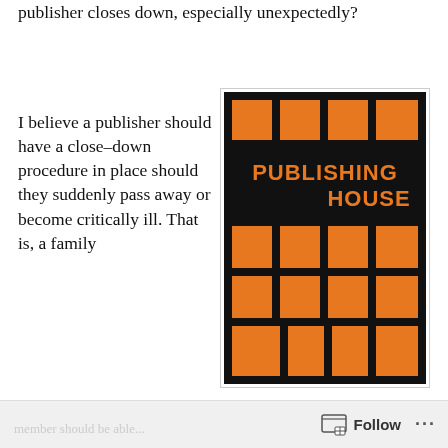publisher closes down, especially unexpectedly?
I believe a publisher should have a close-down procedure in place should they suddenly pass away or become critically ill. That is, a family
[Figure (illustration): Black background with orange squares arranged in a grid pattern. In the center, text reads 'PUBLISHING HOUSE' in orange bold letters.]
Follow ...